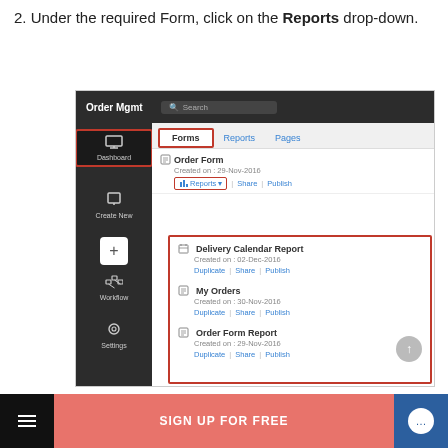2. Under the required Form, click on the Reports drop-down.
[Figure (screenshot): Screenshot of an Order Management application showing the Forms tab with an Order Form entry. The Reports drop-down is highlighted with a red border, showing a dropdown menu listing: Delivery Calendar Report (Created on: 02-Dec-2016), My Orders (Created on: 30-Nov-2016), and Order Form Report (Created on: 29-Nov-2016). Each report has Duplicate, Share, and Publish action links. The left sidebar shows Dashboard (active, highlighted in red), Create New, Workflow, and Settings. A bottom bar shows a hamburger menu, SIGN UP FOR FREE CTA in salmon color, and a chat icon.]